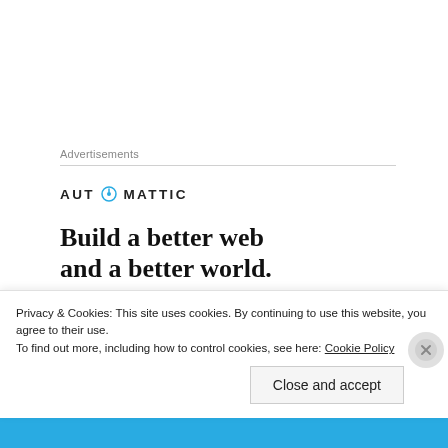Advertisements
[Figure (logo): Automattic logo with compass icon]
Build a better web and a better world.
“Now, therefore, in compliance with the request, and fully concurring in the views of the Senate, I do, by this
Privacy & Cookies: This site uses cookies. By continuing to use this website, you agree to their use. To find out more, including how to control cookies, see here: Cookie Policy
Close and accept